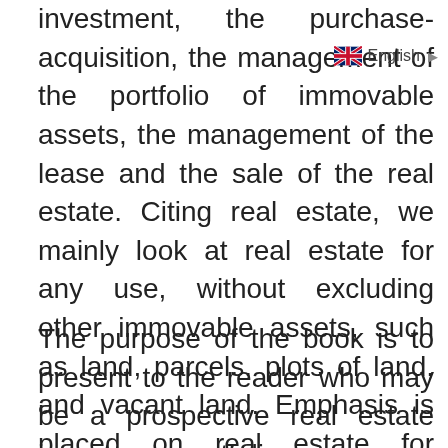investment, the purchase-acquisition, the management of the portfolio of immovable assets, the management of the lease and the sale of the real estate. Citing real estate, we mainly look at real estate for any use, without excluding other immovable assets, such as land, parcels, plots of land, and vacant land. Emphasis is placed on real estate for residential use, but also, we are analysed investments in immovable assets for commercial, industrial, professional use equally.
The purpose of the book is to present to the reader who may be a prospective real estate investor, portfolio manager, market analyst, consultant, agent equally in the field of real